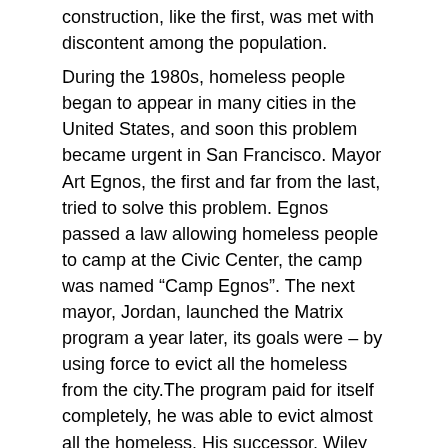construction, like the first, was met with discontent among the population.
During the 1980s, homeless people began to appear in many cities in the United States, and soon this problem became urgent in San Francisco. Mayor Art Egnos, the first and far from the last, tried to solve this problem. Egnos passed a law allowing homeless people to camp at the Civic Center, the camp was named “Camp Egnos”. The next mayor, Jordan, launched the Matrix program a year later, its goals were – by using force to evict all the homeless from the city.The program paid for itself completely, he was able to evict almost all the homeless. His successor, Wiley Brown, completely ignored the problem, thereby completely canceling the merits of his predecessor. Homeless people again flooded the streets of the city. Today, Mayor Gavin Newsom is fighting the homeless through the ambitious Care Not Money program, which provides a variety of rehab and employment programs for the homeless.
1989 Earthquake
On October 17, 1989, there was an earthquake of magnitude 7.1 point on the Richter scale. The epicenter was in the Santa